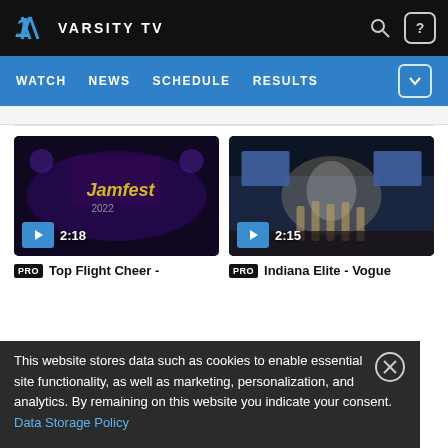VARSITY TV
WATCH NEWS SCHEDULE RESULTS
[Figure (screenshot): Video thumbnail for Top Flight Cheer, duration 2:18, dark arena with Jamfest signage]
PRO Top Flight Cheer -
[Figure (screenshot): Video thumbnail for Indiana Elite - Vogue, duration 2:15, bright arena stage with performers]
PRO Indiana Elite - Vogue
This website stores data such as cookies to enable essential site functionality, as well as marketing, personalization, and analytics. By remaining on this website you indicate your consent. Data Storage Policy